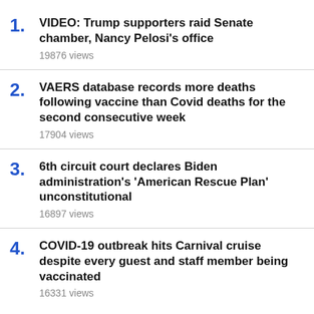1. VIDEO: Trump supporters raid Senate chamber, Nancy Pelosi's office — 19876 views
2. VAERS database records more deaths following vaccine than Covid deaths for the second consecutive week — 17904 views
3. 6th circuit court declares Biden administration's 'American Rescue Plan' unconstitutional — 16897 views
4. COVID-19 outbreak hits Carnival cruise despite every guest and staff member being vaccinated — 16331 views